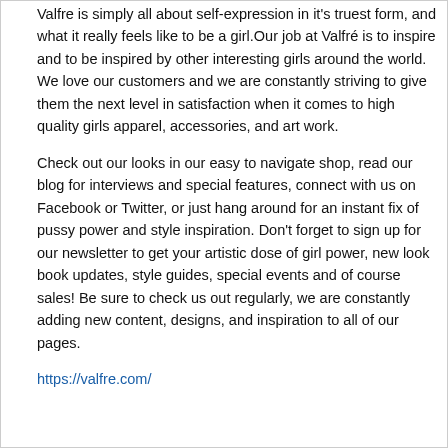Valfre is simply all about self-expression in it's truest form, and what it really feels like to be a girl.Our job at Valfré is to inspire and to be inspired by other interesting girls around the world. We love our customers and we are constantly striving to give them the next level in satisfaction when it comes to high quality girls apparel, accessories, and art work.
Check out our looks in our easy to navigate shop, read our blog for interviews and special features, connect with us on Facebook or Twitter, or just hang around for an instant fix of pussy power and style inspiration. Don't forget to sign up for our newsletter to get your artistic dose of girl power, new look book updates, style guides, special events and of course sales! Be sure to check us out regularly, we are constantly adding new content, designs, and inspiration to all of our pages.
https://valfre.com/